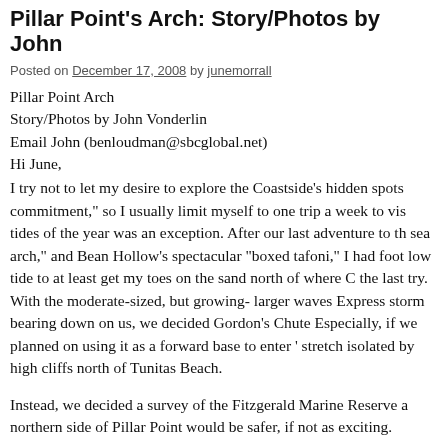Pillar Point's Arch: Story/Photos by John
Posted on December 17, 2008 by junemorrall
Pillar Point Arch
Story/Photos by John Vonderlin
Email John (benloudman@sbcglobal.net)
Hi June,
I try not to let my desire to explore the Coastside's hidden spots commitment," so I usually limit myself to one trip a week to vis tides of the year was an exception. After our last adventure to th sea arch," and Bean Hollow's spectacular "boxed tafoni," I had foot low tide to at least get my toes on the sand north of where C the last try. With the moderate-sized, but growing- larger waves Express storm bearing down on us, we decided Gordon's Chute Especially, if we planned on using it as a forward base to enter ' stretch isolated by high cliffs north of Tunitas Beach.
Instead, we decided a survey of the Fitzgerald Marine Reserve a northern side of Pillar Point would be safer, if not as exciting.